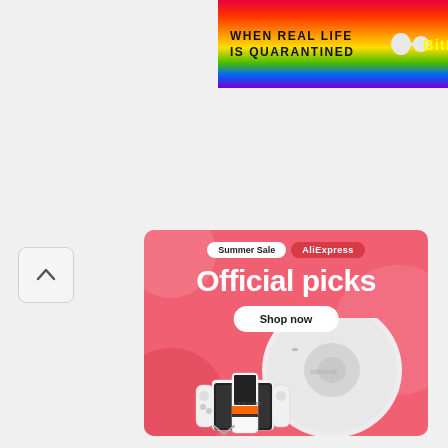[Figure (screenshot): Top right corner banner ad with rainbow gradient background, text 'WHEN REAL LIFE IS QUARANTINED' and 'BitL' logo]
[Figure (screenshot): AliExpress Summer Sale advertisement banner on coral/pink background. Shows 'Summer Sale AliExpress' pill badges, 'Official picks' headline, 'Shop now' button, and product images including a robot vacuum, gaming console (Nintendo Switch-like), and a smartphone/tablet device. Decorative pink circles in background.]